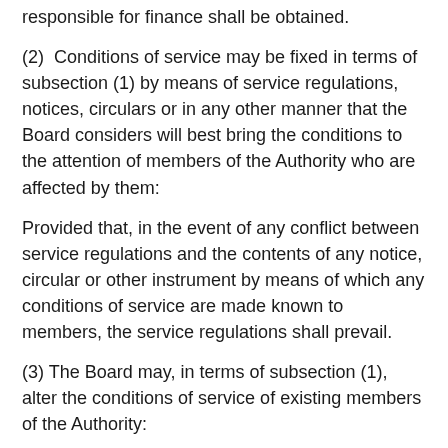responsible for finance shall be obtained.
(2)  Conditions of service may be fixed in terms of subsection (1) by means of service regulations, notices, circulars or in any other manner that the Board considers will best bring the conditions to the attention of members of the Authority who are affected by them:
Provided that, in the event of any conflict between service regulations and the contents of any notice, circular or other instrument by means of which any conditions of service are made known to members, the service regulations shall prevail.
(3) The Board may, in terms of subsection (1), alter the conditions of service of existing members of the Authority: